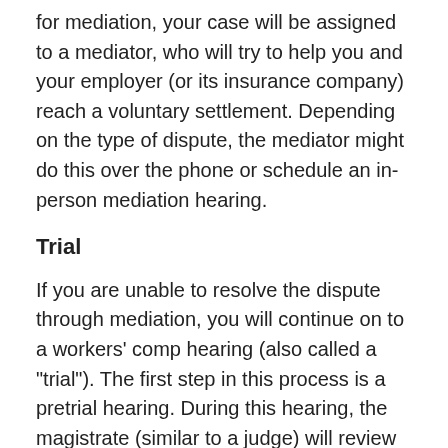for mediation, your case will be assigned to a mediator, who will try to help you and your employer (or its insurance company) reach a voluntary settlement. Depending on the type of dispute, the mediator might do this over the phone or schedule an in-person mediation hearing.
Trial
If you are unable to resolve the dispute through mediation, you will continue on to a workers' comp hearing (also called a "trial"). The first step in this process is a pretrial hearing. During this hearing, the magistrate (similar to a judge) will review your case, address any preliminary issues, and schedule the case for trial.